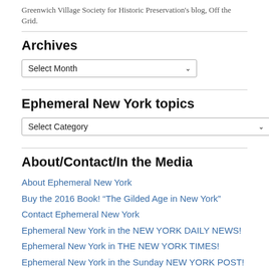Greenwich Village Society for Historic Preservation's blog, Off the Grid.
Archives
Select Month (dropdown)
Ephemeral New York topics
Select Category (dropdown)
About/Contact/In the Media
About Ephemeral New York
Buy the 2016 Book! “The Gilded Age in New York”
Contact Ephemeral New York
Ephemeral New York in the NEW YORK DAILY NEWS!
Ephemeral New York in THE NEW YORK TIMES!
Ephemeral New York in the Sunday NEW YORK POST!